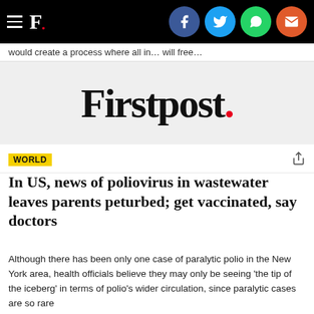[Figure (screenshot): Firstpost website top navigation bar with hamburger menu, F. logo, and social media icons (Facebook, Twitter, WhatsApp, Email)]
would create a process where all in… will free…
[Figure (logo): Firstpost. logo in large serif font with red period on light gray background]
WORLD
In US, news of poliovirus in wastewater leaves parents peturbed; get vaccinated, say doctors
Although there has been only one case of paralytic polio in the New York area, health officials believe they may only be seeing 'the tip of the iceberg' in terms of polio's wider circulation, since paralytic cases are so rare